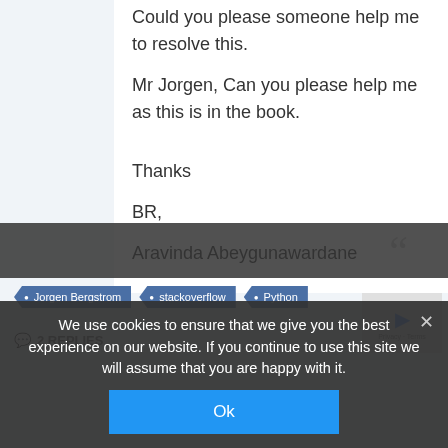Could you please someone help me to resolve this.
Mr Jorgen, Can you please help me as this is in the book.
Thanks
BR,
Aravinda Abeygunawardane
We use cookies to ensure that we give you the best experience on our website. If you continue to use this site we will assume that you are happy with it.
Ok
Jorgen Bergstrom
stackoverflow
Python
2 REPLIES